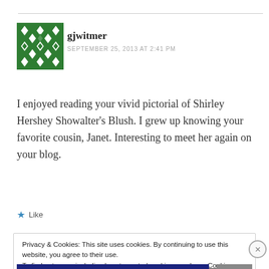[Figure (illustration): Green pixel/diamond pattern avatar icon for user gjwitmer]
gjwitmer
SEPTEMBER 25, 2013 AT 2:41 PM
I enjoyed reading your vivid pictorial of Shirley Hershey Showalter's Blush. I grew up knowing your favorite cousin, Janet. Interesting to meet her again on your blog.
Like
Privacy & Cookies: This site uses cookies. By continuing to use this website, you agree to their use.
To find out more, including how to control cookies, see here: Cookie Policy
Close and accept